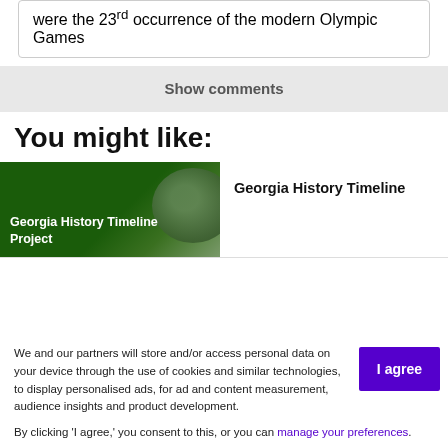were the 23rd occurrence of the modern Olympic Games
Show comments
You might like:
[Figure (other): Green gradient card image for Georgia History Timeline Project]
Georgia History Timeline Project
Georgia History Timeline
We and our partners will store and/or access personal data on your device through the use of cookies and similar technologies, to display personalised ads, for ad and content measurement, audience insights and product development.
By clicking 'I agree,' you consent to this, or you can manage your preferences.